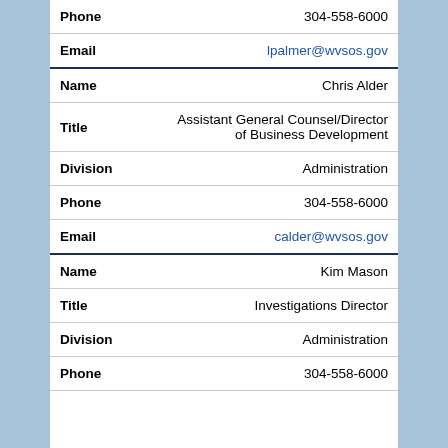| Field | Value |
| --- | --- |
| Phone | 304-558-6000 |
| Email | lpalmer@wvsos.gov |
| Name | Chris Alder |
| Title | Assistant General Counsel/Director of Business Development |
| Division | Administration |
| Phone | 304-558-6000 |
| Email | calder@wvsos.gov |
| Name | Kim Mason |
| Title | Investigations Director |
| Division | Administration |
| Phone | 304-558-6000 |